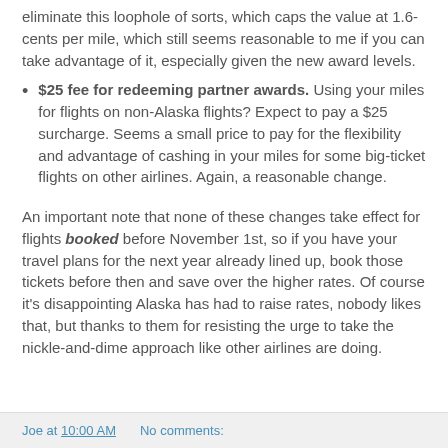eliminate this loophole of sorts, which caps the value at 1.6-cents per mile, which still seems reasonable to me if you can take advantage of it, especially given the new award levels.
$25 fee for redeeming partner awards. Using your miles for flights on non-Alaska flights? Expect to pay a $25 surcharge. Seems a small price to pay for the flexibility and advantage of cashing in your miles for some big-ticket flights on other airlines. Again, a reasonable change.
An important note that none of these changes take effect for flights booked before November 1st, so if you have your travel plans for the next year already lined up, book those tickets before then and save over the higher rates. Of course it's disappointing Alaska has had to raise rates, nobody likes that, but thanks to them for resisting the urge to take the nickle-and-dime approach like other airlines are doing.
Joe at 10:00 AM    No comments: